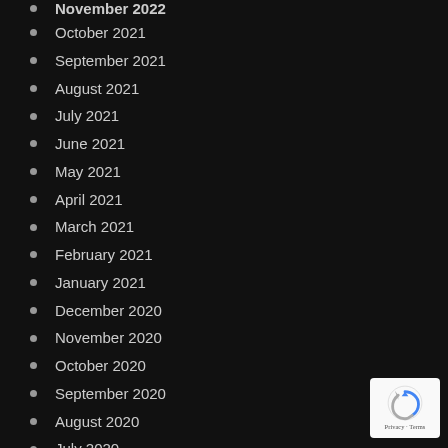November 2022 (partial, cut off at top)
October 2021
September 2021
August 2021
July 2021
June 2021
May 2021
April 2021
March 2021
February 2021
January 2021
December 2020
November 2020
October 2020
September 2020
August 2020
July 2020
June 2020
May 2020
April 2020
March 2020
February 2020
[Figure (logo): reCAPTCHA badge with Privacy and Terms text]